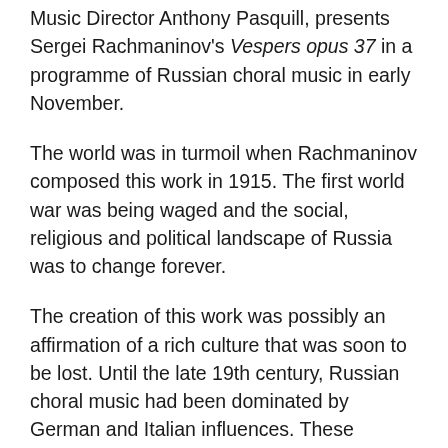Music Director Anthony Pasquill, presents Sergei Rachmaninov's Vespers opus 37 in a programme of Russian choral music in early November.
The world was in turmoil when Rachmaninov composed this work in 1915. The first world war was being waged and the social, religious and political landscape of Russia was to change forever.
The creation of this work was possibly an affirmation of a rich culture that was soon to be lost. Until the late 19th century, Russian choral music had been dominated by German and Italian influences. These foreign influences were fading as composers turned to old Russian chant for inspiration. Rachmaninov's Vespers is considered